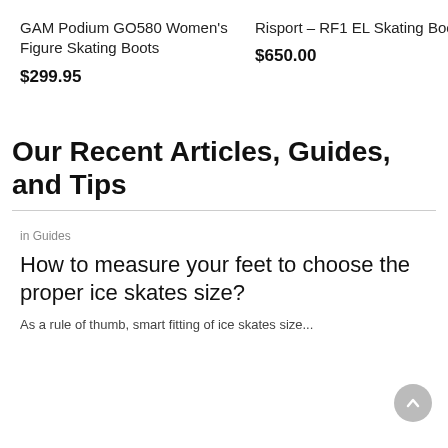GAM Podium GO580 Women's Figure Skating Boots
$299.95
Risport – RF1 EL Skating Boots
$650.00
Our Recent Articles, Guides, and Tips
in Guides
How to measure your feet to choose the proper ice skates size?
As a rule of thumb, smart fitting of ice skates size...